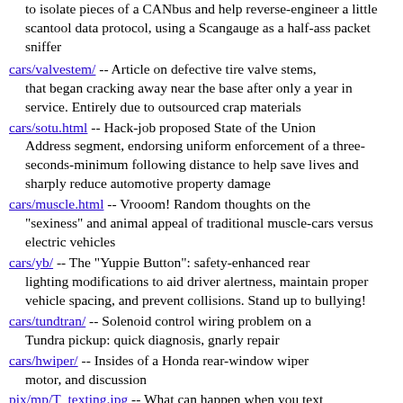(continuation) to isolate pieces of a CANbus and help reverse-engineer a little scantool data protocol, using a Scangauge as a half-ass packet sniffer
cars/valvestem/ -- Article on defective tire valve stems, that began cracking away near the base after only a year in service. Entirely due to outsourced crap materials
cars/sotu.html -- Hack-job proposed State of the Union Address segment, endorsing uniform enforcement of a three-seconds-minimum following distance to help save lives and sharply reduce automotive property damage
cars/muscle.html -- Vrooom! Random thoughts on the "sexiness" and animal appeal of traditional muscle-cars versus electric vehicles
cars/yb/ -- The "Yuppie Button": safety-enhanced rear lighting modifications to aid driver alertness, maintain proper vehicle spacing, and prevent collisions. Stand up to bullying!
cars/tundtran/ -- Solenoid control wiring problem on a Tundra pickup: quick diagnosis, gnarly repair
cars/hwiper/ -- Insides of a Honda rear-window wiper motor, and discussion
pix/mp/T_texting.jpg -- What can happen when you text on the move, or *anything* else that distracts attention